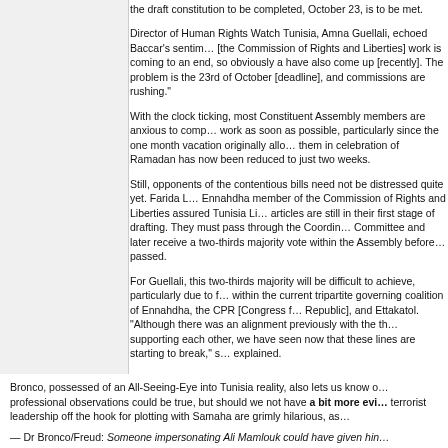the draft constitution to be completed, October 23, is to be met.
Director of Human Rights Watch Tunisia, Amna Guellali, echoed Baccar's sentiments: "[the Commission of Rights and Liberties] work is coming to an end, so obviously a have also come up [recently]. The problem is the 23rd of October [deadline], and commissions are rushing."
With the clock ticking, most Constituent Assembly members are anxious to complete their work as soon as possible, particularly since the one month vacation originally allowed them in celebration of Ramadan has now been reduced to just two weeks.
Still, opponents of the contentious bills need not be distressed quite yet. Farida L... Ennahdha member of the Commission of Rights and Liberties assured Tunisia Li... articles are still in their first stage of drafting. They must pass through the Coordinating Committee and later receive a two-thirds majority vote within the Assembly before passed.
For Guellali, this two-thirds majority will be difficult to achieve, particularly due to fissures within the current tripartite governing coalition of Ennahdha, the CPR [Congress for the Republic], and Ettakatol. "Although there was an alignment previously with the three parties supporting each other, we have seen now that these lines are starting to break," she explained.
Ounaies, also, believes that the articles will have a difficult time passing – not due to rifts within the government, but because of action from Tunisian civil society that he foresees emerging after the conclusion of Ramadan. "Civil society members will demonstrate in front of Ennahdha headquarters, and in the street in front of the Constituent Assembly...but this will not occur until after Ramadan," he contended.
Bronco, possessed of an All-Seeing-Eye into Tunisia reality, also lets us know our professional observations could be true, but should we not have a bit more evidence? His terrorist leadership off the hook for plotting with Samaha are grimly hilarious, as
— Dr Bronco/Freud: Someone impersonating Ali Mamlouk could have given him instructions...